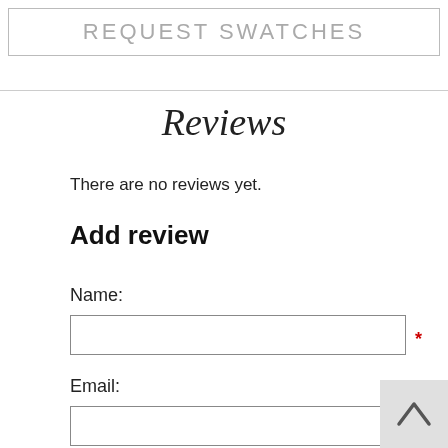REQUEST SWATCHES
Reviews
There are no reviews yet.
Add review
Name:
Email: